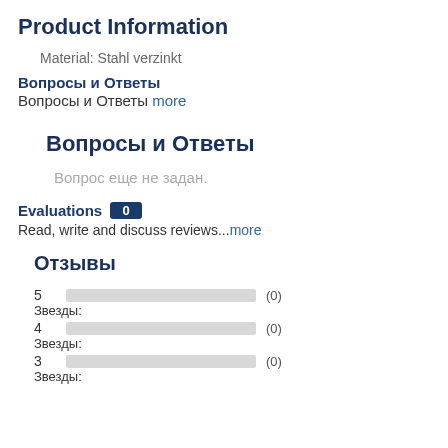Product Information
Material: Stahl verzinkt
Вопросы и Ответы
Вопросы и Ответы more
Вопросы и Ответы
Вопрос еще не задан.
Evaluations 0
Read, write and discuss reviews...more
Отзывы
5  (0)
Звезды:
4  (0)
Звезды:
3  (0)
Звезды: